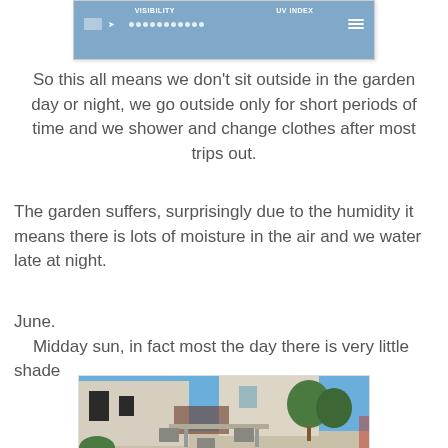[Figure (screenshot): Weather app screenshot showing VISIBILITY and UV INDEX labels with icons and dots on a blue background]
So this all means we don't sit outside in the garden day or night, we go outside only for short periods of time and we shower and change clothes after most trips out.
The garden suffers, surprisingly due to the humidity it means there is lots of moisture in the air and we water late at night.
June.
    Midday sun, in fact most the day there is very little shade
[Figure (photo): Outdoor garden/patio area with dining table and chairs, white building in background, blue sky, green trees and shrubs]